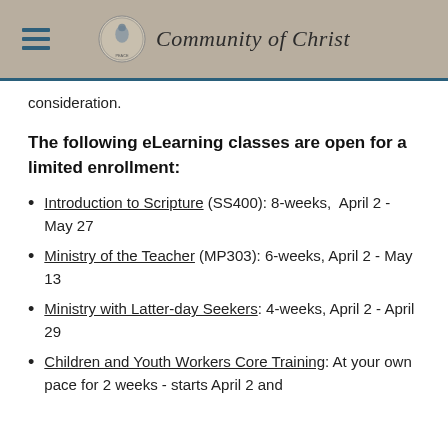Community of Christ
consideration.
The following eLearning classes are open for a limited enrollment:
Introduction to Scripture (SS400): 8-weeks, April 2 - May 27
Ministry of the Teacher (MP303): 6-weeks, April 2 - May 13
Ministry with Latter-day Seekers: 4-weeks, April 2 - April 29
Children and Youth Workers Core Training: At your own pace for 2 weeks - starts April 2 and